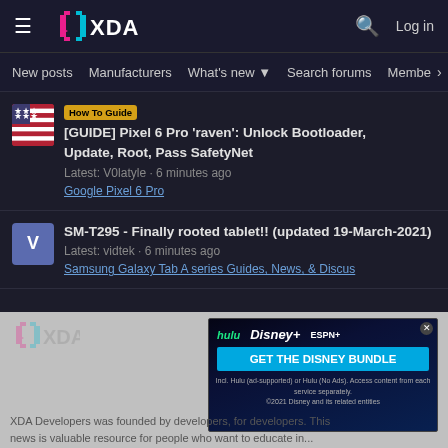XDA Developers - Log in
New posts  Manufacturers  What's new  Search forums  Members
How To Guide  [GUIDE] Pixel 6 Pro 'raven': Unlock Bootloader, Update, Root, Pass SafetyNet
Latest: V0latyle · 6 minutes ago
Google Pixel 6 Pro
SM-T295 - Finally rooted tablet!! (updated 19-March-2021)
Latest: vidtek · 6 minutes ago
Samsung Galaxy Tab A series Guides, News, & Discus
[Figure (screenshot): Advertisement banner for Disney Bundle showing Hulu, Disney+, ESPN+ logos with 'GET THE DISNEY BUNDLE' button]
XDA Developers was founded by developers, for developers. This news is valuable resource for people who want to educate themselves in...